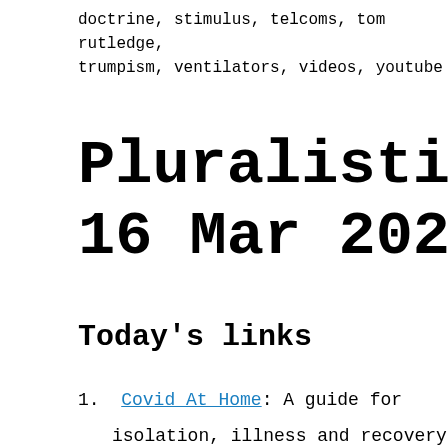doctrine, stimulus, telcoms, tom rutledge, trumpism, ventilators, videos, youtube
Pluralistic: 16 Mar 2020
Today's links
1. Covid At Home: A guide for isolation, illness and recovery